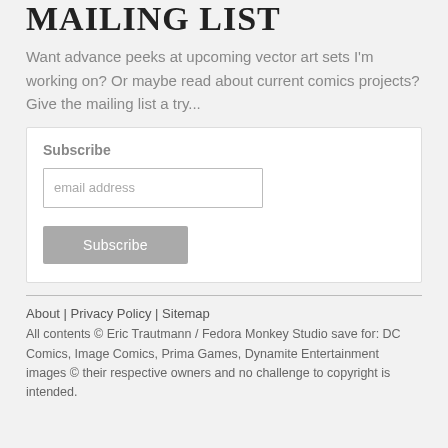MAILING LIST
Want advance peeks at upcoming vector art sets I'm working on? Or maybe read about current comics projects? Give the mailing list a try...
Subscribe
email address
Subscribe
About | Privacy Policy | Sitemap
All contents © Eric Trautmann / Fedora Monkey Studio save for: DC Comics, Image Comics, Prima Games, Dynamite Entertainment images © their respective owners and no challenge to copyright is intended.